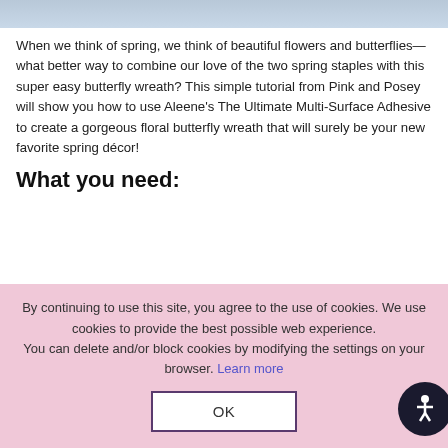[Figure (photo): Top partial image strip, appears to be a decorative photo (blurred/cropped at top of page)]
When we think of spring, we think of beautiful flowers and butterflies— what better way to combine our love of the two spring staples with this super easy butterfly wreath? This simple tutorial from Pink and Posey will show you how to use Aleene's The Ultimate Multi-Surface Adhesive to create a gorgeous floral butterfly wreath that will surely be your new favorite spring décor!
What you need:
By continuing to use this site, you agree to the use of cookies. We use cookies to provide the best possible web experience.
You can delete and/or block cookies by modifying the settings on your browser. Learn more
OK